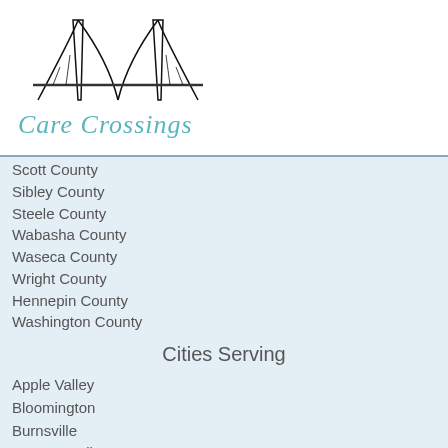[Figure (logo): Care Crossings bridge logo with two arched towers and cables, black line art]
Care Crossings
Scott County
Sibley County
Steele County
Wabasha County
Waseca County
Wright County
Hennepin County
Washington County
Cities Serving
Apple Valley
Bloomington
Burnsville
Cannon Falls
Chanhassen